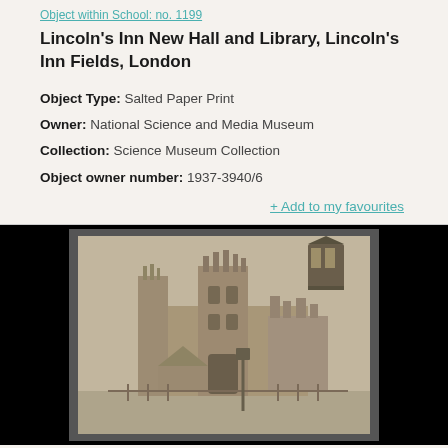Object within School: no. 1199
Lincoln's Inn New Hall and Library, Lincoln's Inn Fields, London
Object Type: Salted Paper Print
Owner: National Science and Media Museum
Collection: Science Museum Collection
Object owner number: 1937-3940/6
+ Add to my favourites
[Figure (photo): Historic salted paper print photograph of Lincoln's Inn New Hall and Library, showing a Gothic Revival building with ornate stonework, pinnacles and towers. A street lantern is visible in the upper right. The photo is mounted on dark card and displayed against a black background.]